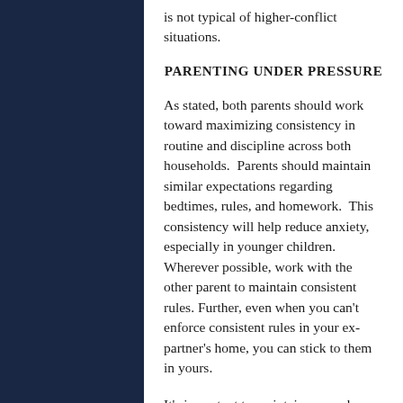is not typical of higher-conflict situations.
PARENTING UNDER PRESSURE
As stated, both parents should work toward maximizing consistency in routine and discipline across both households.  Parents should maintain similar expectations regarding bedtimes, rules, and homework.  This consistency will help reduce anxiety, especially in younger children. Wherever possible, work with the other parent to maintain consistent rules. Further, even when you can't enforce consistent rules in your ex-partner's home, you can stick to them in yours.
It's important to maintain as much normalcy as possible after a divorce by